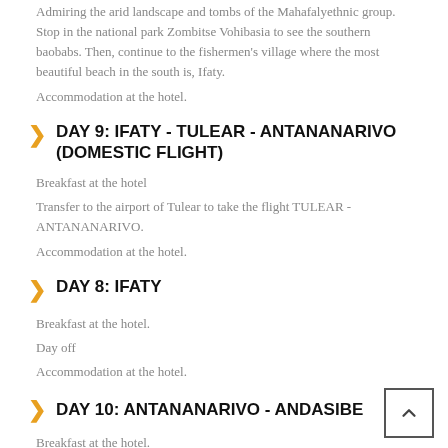Admiring the arid landscape and tombs of the Mahafalyethnic group. Stop in the national park Zombitse Vohibasia to see the southern baobabs. Then, continue to the fishermen's village where the most beautiful beach in the south is, Ifaty.
Accommodation at the hotel.
DAY 9: IFATY - TULEAR - ANTANANARIVO (DOMESTIC FLIGHT)
Breakfast at the hotel
Transfer to the airport of Tulear to take the flight TULEAR - ANTANANARIVO.
Accommodation at the hotel.
DAY 8: IFATY
Breakfast at the hotel.
Day off
Accommodation at the hotel.
DAY 10: ANTANANARIVO - ANDASIBE
Breakfast at the hotel.